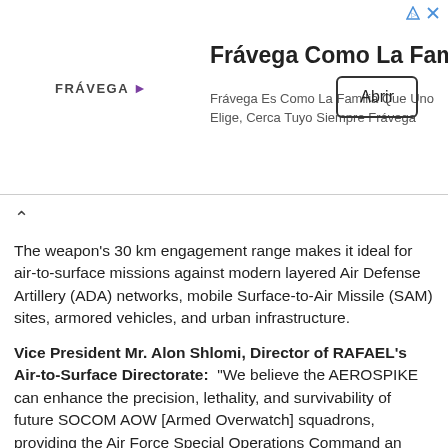[Figure (other): Advertisement banner for Frávega with logo, tagline 'Frávega Como La Familia', subtitle 'Frávega Es Como La Familia Que Uno Elige, Cerca Tuyo Siempre Frávega', and an 'Abrir' button. Small ad icons (triangle and X) in top right corner.]
The weapon's 30 km engagement range makes it ideal for air-to-surface missions against modern layered Air Defense Artillery (ADA) networks, mobile Surface-to-Air Missile (SAM) sites, armored vehicles, and urban infrastructure.
Vice President Mr. Alon Shlomi, Director of RAFAEL's Air-to-Surface Directorate: “We believe the AEROSPIKE can enhance the precision, lethality, and survivability of future SOCOM AOW [Armed Overwatch] squadrons, providing the Air Force Special Operations Command an advanced tactical CAS solution while keeping the warfighter out of harm’s way. Today's battle arena is saturated with portable air defense threats - like MANPADs - that require CAS elements to operate with greater precision and longer ranges; that is precisely what AEROSPIKE brings to the modern battlefield.”